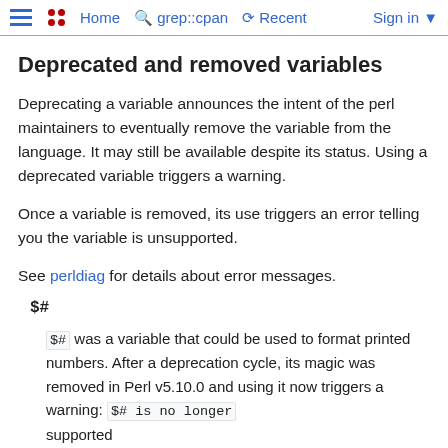Home  grep::cpan  Recent  Sign in
Deprecated and removed variables
Deprecating a variable announces the intent of the perl maintainers to eventually remove the variable from the language. It may still be available despite its status. Using a deprecated variable triggers a warning.
Once a variable is removed, its use triggers an error telling you the variable is unsupported.
See perldiag for details about error messages.
$#
$# was a variable that could be used to format printed numbers. After a deprecation cycle, its magic was removed in Perl v5.10.0 and using it now triggers a warning: $# is no longer supported